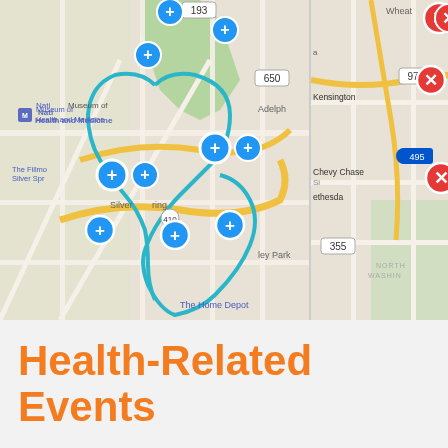[Figure (map): Google Map screenshot showing Silver Spring, Takoma Park, and surrounding Maryland/DC area with multiple blue medical/health marker icons (cross symbols) clustered around the area. A teal/blue route outline traces a heart or loop shape around Takoma Park. Labels visible include: National Museum of Health and Medicine, The Fillmore Silver Spring, Silver Spring, Takoma Park, TAKOMA, The Home Depot, Chillum, Rock, Adelphi, Sley Park, route numbers 193, 410, 650.]
[Figure (map): Partial Google Map screenshot showing right portion of a wider map area with Kensington, Chevy Chase, Bethesda, North Washington area. Multiple red circle markers with X icons visible. Route numbers 97, 495, 355 visible.]
Health-Related Events